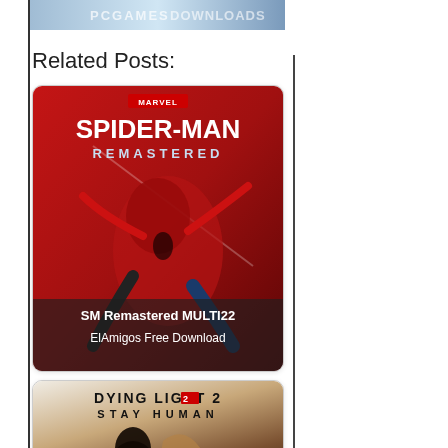[Figure (screenshot): Partial header image with blue/grey gradient, appears to be a website logo/banner cropped at top]
Related Posts:
[Figure (screenshot): Spider-Man Remastered game cover art - red background with Spider-Man figure. Card with caption: SM Remastered MULTI22 ElAmigos Free Download]
SM Remastered MULTI22 ElAmigos Free Download
[Figure (screenshot): Dying Light 2 Stay Human game cover art - muted tones with silhouette. Card with caption: Dying Light 2 Stay Human EMPRESS Free Download]
Dying Light 2 Stay Human EMPRESS Free Download
[Figure (screenshot): Partial third card visible at bottom of page, cropped]